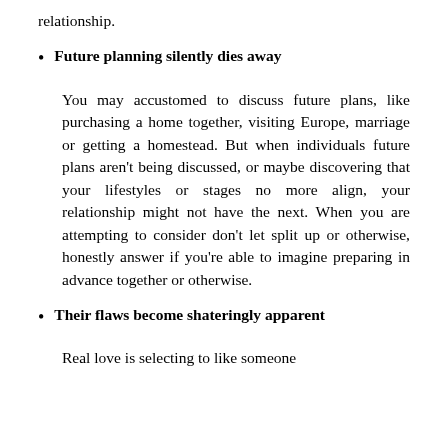relationship.
Future planning silently dies away
You may accustomed to discuss future plans, like purchasing a home together, visiting Europe, marriage or getting a homestead. But when individuals future plans aren’t being discussed, or maybe discovering that your lifestyles or stages no more align, your relationship might not have the next. When you are attempting to consider don’t let split up or otherwise, honestly answer if you’re able to imagine preparing in advance together or otherwise.
Their flaws become shateringly apparent
Real love is selecting to like someone